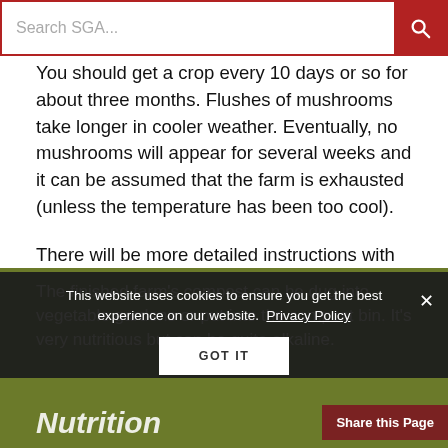Search SGA...
You should get a crop every 10 days or so for about three months. Flushes of mushrooms take longer in cooler weather. Eventually, no mushrooms will appear for several weeks and it can be assumed that the farm is exhausted (unless the temperature has been too cool).
There will be more detailed instructions with the mushroom farm, and it is advisable to read and follow them to get the most out of the farm.
The finished farm's compost can be dug into vegetable gardens or put into the compost bin. It's very nutritious but can be quite alkaline.
Nutrition
This website uses cookies to ensure you get the best experience on our website. Privacy Policy GOT IT